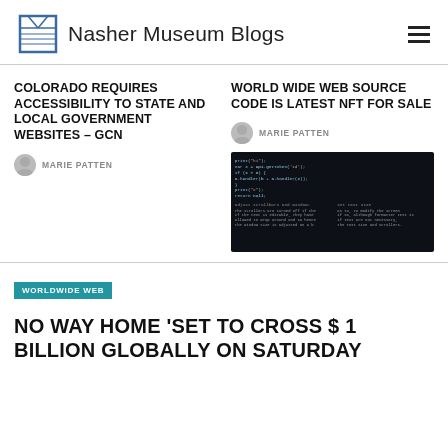Nasher Museum Blogs
COLORADO REQUIRES ACCESSIBILITY TO STATE AND LOCAL GOVERNMENT WEBSITES – GCN
MARIE PATTEN
WORLD WIDE WEB SOURCE CODE IS LATEST NFT FOR SALE
MARIE PATTEN
[Figure (screenshot): Dark-background code screenshot showing source code text]
WORLDWIDE WEB
NO WAY HOME 'SET TO CROSS $ 1 BILLION GLOBALLY ON SATURDAY